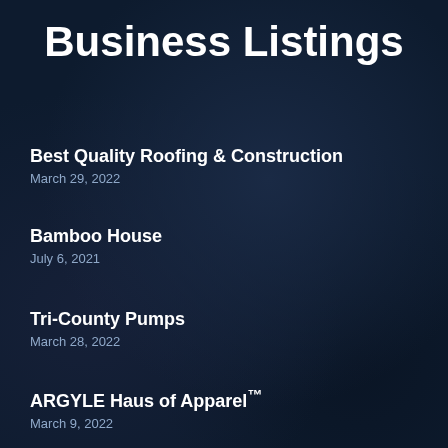Business Listings
Best Quality Roofing & Construction
March 29, 2022
Bamboo House
July 6, 2021
Tri-County Pumps
March 28, 2022
ARGYLE Haus of Apparel™
March 9, 2022